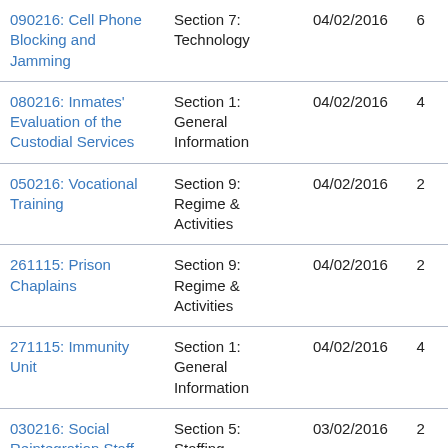| 090216: Cell Phone Blocking and Jamming | Section 7: Technology | 04/02/2016 | 6 |
| 080216: Inmates' Evaluation of the Custodial Services | Section 1: General Information | 04/02/2016 | 4 |
| 050216: Vocational Training | Section 9: Regime & Activities | 04/02/2016 | 2 |
| 261115: Prison Chaplains | Section 9: Regime & Activities | 04/02/2016 | 2 |
| 271115: Immunity Unit | Section 1: General Information | 04/02/2016 | 4 |
| 030216: Social Reintegration Staff | Section 5: Staffing | 03/02/2016 | 2 |
| 280915: Home Kenneling | Section 1: General | 22/01/2016 | 6 |